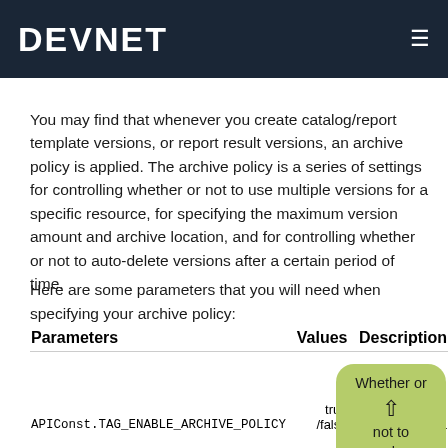DEVNET
You may find that whenever you create catalog/report template versions, or report result versions, an archive policy is applied. The archive policy is a series of settings for controlling whether or not to use multiple versions for a specific resource, for specifying the maximum version amount and archive location, and for controlling whether or not to auto-delete versions after a certain period of time.
Here are some parameters that you will need when specifying your archive policy:
| Parameters | Values | Description |
| --- | --- | --- |
| APIConst.TAG_ENABLE_ARCHIVE_POLICY | true /false | Whether or not to apply a |